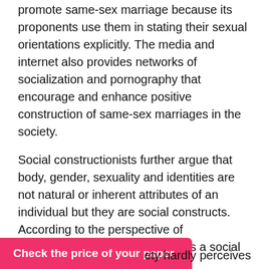promote same-sex marriage because its proponents use them in stating their sexual orientations explicitly. The media and internet also provides networks of socialization and pornography that encourage and enhance positive construction of same-sex marriages in the society.
Social constructionists further argue that body, gender, sexuality and identities are not natural or inherent attributes of an individual but they are social constructs. According to the perspective of constructionists, homosexuality is a social construct, thus comprehensive understanding of homosexuals and same sex marriages lies in historical social context.
For instance, during the course of history, perception of abnormal sexual behaviours has changed from sodomy to homosexuals and eventual... ety hardly perceives
Check the price of your paper